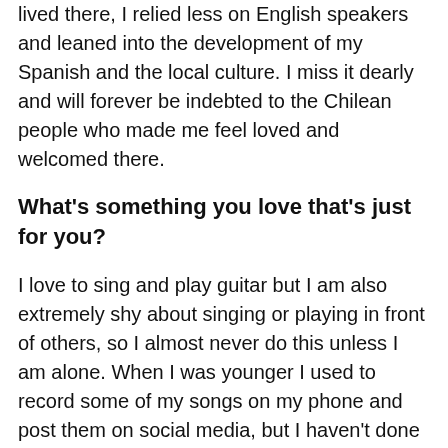lived there, I relied less on English speakers and leaned into the development of my Spanish and the local culture. I miss it dearly and will forever be indebted to the Chilean people who made me feel loved and welcomed there.
What's something you love that's just for you?
I love to sing and play guitar but I am also extremely shy about singing or playing in front of others, so I almost never do this unless I am alone. When I was younger I used to record some of my songs on my phone and post them on social media, but I haven't done that in a very long time. Sometimes when I'm alone in my car, I sing at the top of my lungs and really get into it, but it seems like whenever anybody else is